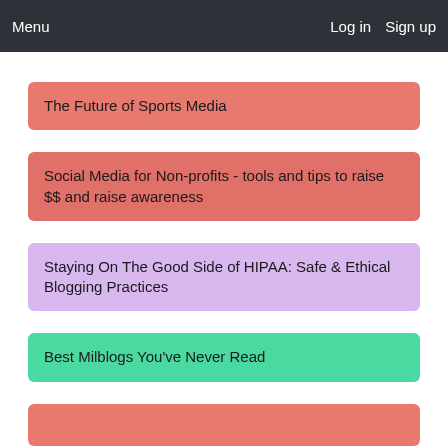Menu  Log in  Sign up
The Future of Sports Media
Social Media for Non-profits - tools and tips to raise $$ and raise awareness
Staying On The Good Side of HIPAA: Safe & Ethical Blogging Practices
Best Milblogs You've Never Read
(partial card)